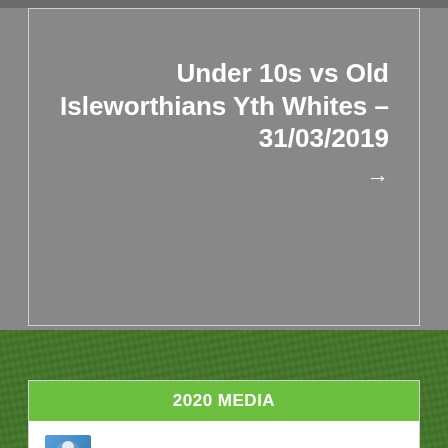Under 10s vs Old Isleworthians Yth Whites – 31/03/2019
2020 MEDIA
[Figure (logo): 2020Med logo with blue icon and stylized text '2020Med']
WordPress hosting from 2020Media.com